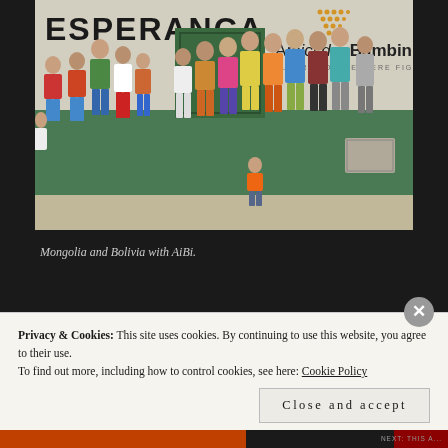[Figure (photo): Group photo of children standing in front of a building with green lower walls and white upper walls. The building has 'ESPERANÇA' written on the upper left wall and the 'Amici dei Bambini' logo on the upper right. A green door is visible in the center background. Children of various ages stand in a row, with one small child in an orange shirt in the foreground.]
Mongolia and Bolivia with AiBi.
Privacy & Cookies: This site uses cookies. By continuing to use this website, you agree to their use.
To find out more, including how to control cookies, see here: Cookie Policy
Close and accept